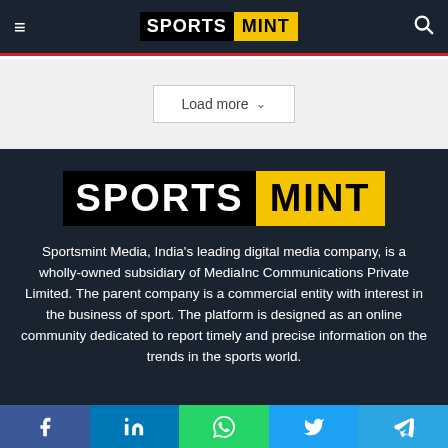SPORTS MINT
Load more
[Figure (logo): SportsMint logo — black background with white bold text 'SPORTS' and yellow background with black bold text 'MINT']
Sportsmint Media, India's leading digital media company, is a wholly-owned subsidiary of MediaInc Communications Private Limited. The parent company is a commercial entity with interest in the business of sport. The platform is designed as an online community dedicated to report timely and precise information on the trends in the sports world.
f  in  WhatsApp  Twitter  Telegram